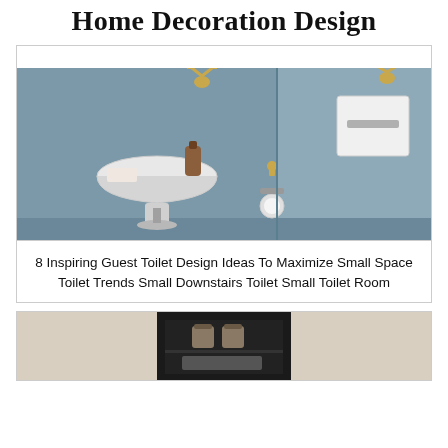Home Decoration Design
[Figure (photo): Small guest toilet bathroom with blue-grey walls, corner white pedestal sink with soap dispenser and hand towel, gold deer head wall decoration, toilet paper holder, and white flush plate on the right wall.]
8 Inspiring Guest Toilet Design Ideas To Maximize Small Space Toilet Trends Small Downstairs Toilet Small Toilet Room
[Figure (photo): Partial view of a bathroom with beige walls and a dark recessed shelf unit containing decorative jars and items.]